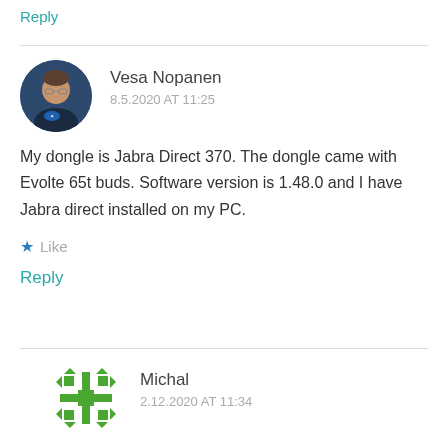Reply
Vesa Nopanen
8.5.2020 AT 11:25
My dongle is Jabra Direct 370. The dongle came with Evolte 65t buds. Software version is 1.48.0 and I have Jabra direct installed on my PC.
★ Like
Reply
Michal
2.12.2020 AT 11:34